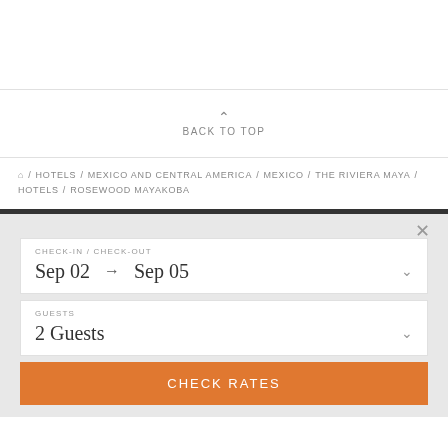BACK TO TOP
/ HOTELS / MEXICO AND CENTRAL AMERICA / MEXICO / THE RIVIERA MAYA / HOTELS / ROSEWOOD MAYAKOBA
CHECK-IN / CHECK-OUT  Sep 02 → Sep 05
GUESTS  2 Guests
CHECK RATES